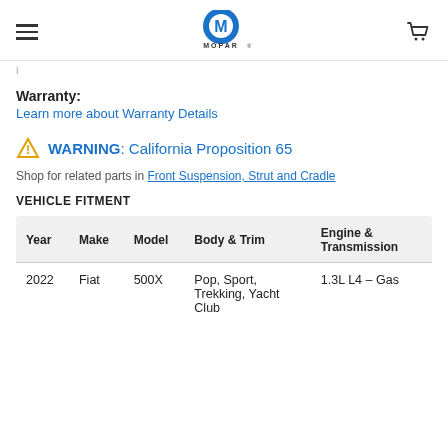MOPAR (logo, hamburger menu, cart icon)
i
Warranty:
Learn more about Warranty Details
⚠ WARNING: California Proposition 65
Shop for related parts in Front Suspension, Strut and Cradle
VEHICLE FITMENT
| Year | Make | Model | Body & Trim | Engine & Transmission |
| --- | --- | --- | --- | --- |
| 2022 | Fiat | 500X | Pop, Sport, Trekking, Yacht Club | 1.3L L4 – Gas |